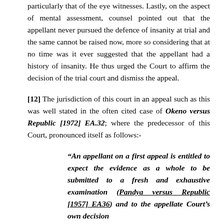particularly that of the eye witnesses. Lastly, on the aspect of mental assessment, counsel pointed out that the appellant never pursued the defence of insanity at trial and the same cannot be raised now, more so considering that at no time was it ever suggested that the appellant had a history of insanity. He thus urged the Court to affirm the decision of the trial court and dismiss the appeal.
[12] The jurisdiction of this court in an appeal such as this was well stated in the often cited case of Okeno versus Republic [1972] EA.32; where the predecessor of this Court, pronounced itself as follows:-
“An appellant on a first appeal is entitled to expect the evidence as a whole to be submitted to a fresh and exhaustive examination (Pandya versus Republic [1957] EA36) and to the appellate Court’s own decision